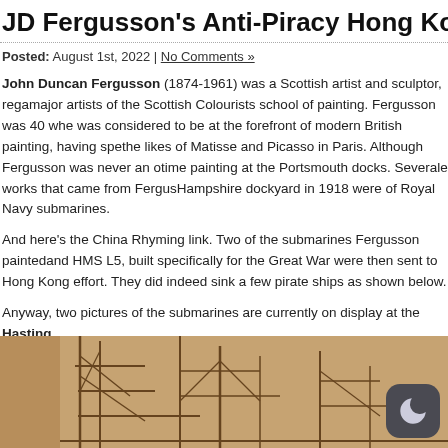JD Fergusson's Anti-Piracy Hong Kong
Posted: August 1st, 2022 | No Comments »
John Duncan Fergusson (1874-1961) was a Scottish artist and sculptor, regarded as one of the major artists of the Scottish Colourists school of painting. Fergusson was 40 when he was considered to be at the forefront of modern British painting, having spent time with the likes of Matisse and Picasso in Paris. Although Fergusson was never an official war artist, he spent time painting at the Portsmouth docks. Severale works that came from Fergusson's time at the Hampshire dockyard in 1918 were of Royal Navy submarines.
And here's the China Rhyming link. Two of the submarines Fergusson painted, HMS L3 and HMS L5, built specifically for the Great War were then sent to Hong Kong as part of the anti-piracy effort. They did indeed sink a few pirate ships as shown below.
Anyway, two pictures of the submarines are currently on display at the Hastings Gallery exhibition Seafaring.
[Figure (photo): Partial view of a sepia-toned photograph or painting showing submarine dock structures with metal framework/masts, partially visible at the bottom of the page. A dark mode toggle button (moon icon) overlays the top-right of the image.]